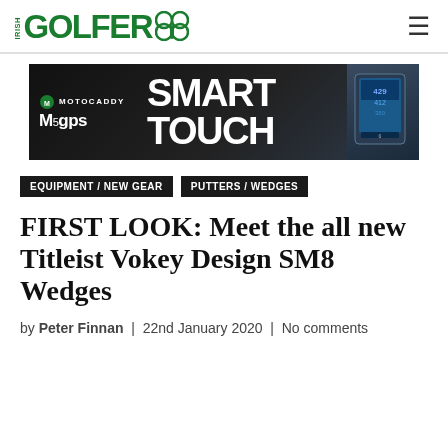IRISH GOLFER
[Figure (screenshot): Motocaddy M5GPS Smart Touch advertisement banner — dark background with large white text reading SMART TOUCH, Motocaddy logo and M5gps branding on left, device image on right]
EQUIPMENT / NEW GEAR   PUTTERS / WEDGES
FIRST LOOK: Meet the all new Titleist Vokey Design SM8 Wedges
by Peter Finnan  |  22nd January 2020  |  No comments